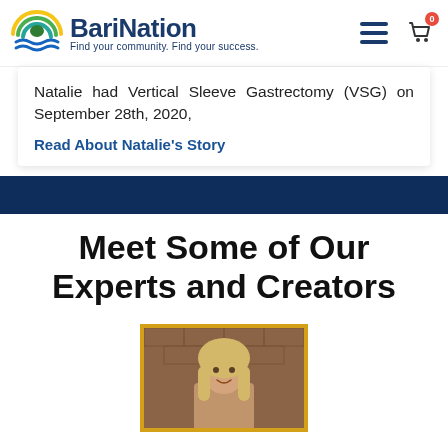[Figure (logo): BariNation logo with colorful arc/wave icon and text 'BariNation' and tagline 'Find your community. Find your success.']
Natalie had Vertical Sleeve Gastrectomy (VSG) on September 28th, 2020,
Read About Natalie's Story
Meet Some of Our Experts and Creators
[Figure (photo): Photo of a woman with long blonde hair smiling, framed with a golden/yellow border]